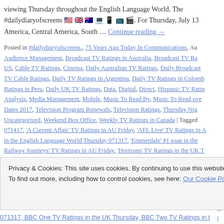viewing Thursday throughout the English Language World. The #dailydiaryofscreens 🇺🇸 🇬🇧 🇦🇺 💻 📱 📺 🎬. For Thursday, July 13 America, Central America, South … Continue reading →
Posted in #dailydiaryofscreens., 75 Years Ago Today In Communications, Audience Management, Broadcast TV Ratings in Australia, Broadcast TV Ratings US, Cable TV Ratings, Cinema, Daily Australian TV Ratings, Daily Broadcast TV Cable Ratings, Daily TV Ratings in Argentina, Daily TV Ratings in Colombia, Ratings in Peru, Daily UK TV Ratings, Data, Digital, Direct, Hispanic TV Ratings, Analysis, Media Management, Mobile, Music To Read By, Music To Read over Dates 2017, Television Program Renewals, Television Ratings, Thursday Night Uncategorized, Weekend Box Office, Weekly TV Ratings in Canada | Tagged 071417, 'A Current Affair' TV Ratings in AU Friday, 'AFL Live' TV Ratings in AU in the English Language World Thursday 071317, 'Emmerdale' #1 soap in the Railway Journeys' TV Ratings in AU Friday, 'Horizons' TV Ratings in the UK program Thursday 071317, 'Killer Women with Piers Morgan' TV Ratings in the UK Thursday, 'MasterChef AU' #1 program in Australia Thursday 071317, BBC One TV Ratings in the UK Thursday, BBC Two TV Ratings in th...
Privacy & Cookies: This site uses cookies. By continuing to use this website, you agree to their use.
To find out more, including how to control cookies, see here: Our Cookie Policy